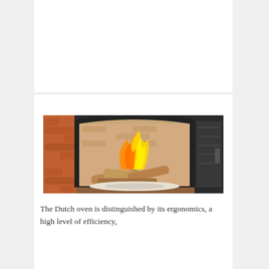[Figure (photo): A Dutch oven fireplace with an open cast-iron arched door showing burning wood logs with yellow and orange flames, set into a brick wall surround. The firebox interior is lined with firebricks.]
The Dutch oven is distinguished by its ergonomics, a high level of efficiency,